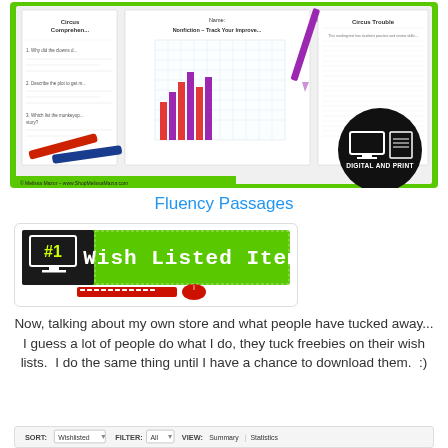[Figure (photo): Product preview image showing Fluency Passages educational worksheets with comprehension questions, a tracking graph, and a nonfiction reading page titled 'Circus Trouble'. Green background with crayons, a purple pen, and a black circle badge reading 'DIGITAL AND PRINT'. Copyright: Melissa Mazur – www.ShopMelissaMazur.com]
Fluency Passages
[Figure (photo): Banner image showing a computer monitor icon with '#1' on a black background, next to green banner text reading 'Wish Listed Item' in monospace font, with a keyboard and mouse illustration below.]
Now, talking about my own store and what people have tucked away... I guess a lot of people do what I do, they tuck freebies on their wish lists.  I do the same thing until I have a chance to download them.  :)
[Figure (screenshot): Partial screenshot of a sort/filter bar showing: SORT: Wishlisted, FILTER: All, VIEW: Summary | Statistics]